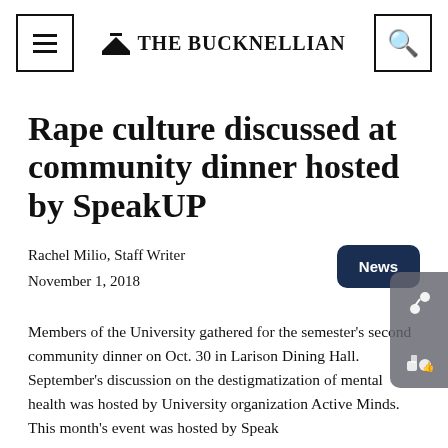THE BUCKNELLIAN
Rape culture discussed at community dinner hosted by SpeakUP
Rachel Milio, Staff Writer
November 1, 2018
Members of the University gathered for the semester's second community dinner on Oct. 30 in Larison Dining Hall. September's discussion on the destigmatization of mental health was hosted by University organization Active Minds. This month's event was hosted by Speak